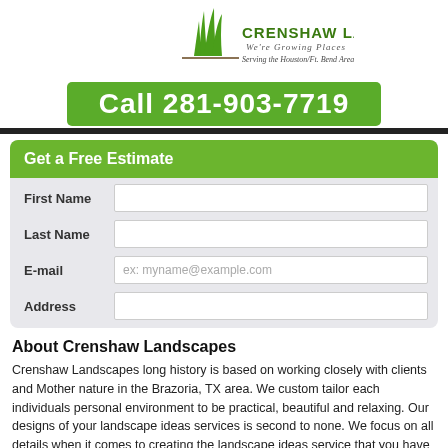[Figure (logo): Crenshaw Landscapes logo with green grass graphic, 'We're Growing Places' tagline, and 'Serving the Houston/Ft. Bend Area Since 1990']
Call 281-903-7719
Get a Free Estimate
First Name
Last Name
E-mail
Address
About Crenshaw Landscapes
Crenshaw Landscapes long history is based on working closely with clients and Mother nature in the Brazoria, TX area. We custom tailor each individuals personal environment to be practical, beautiful and relaxing. Our designs of your landscape ideas services is second to none. We focus on all details when it comes to creating the landscape ideas service that you have envisioned in the Brazoria, TX area by truly transforming your yard. For all of your landscape ideas services in the Brazoria, TX area, give Crenshaw Landscapes a call at 281-903-7719.